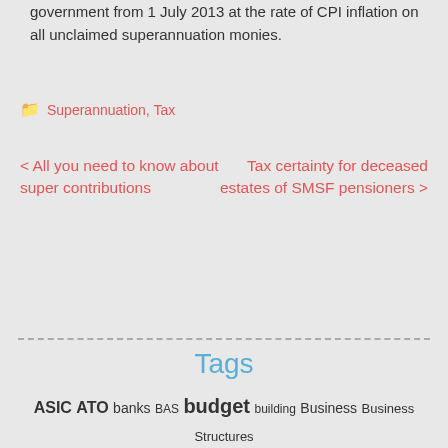government from 1 July 2013 at the rate of CPI inflation on all unclaimed superannuation monies.
Superannuation, Tax
< All you need to know about super contributions
Tax certainty for deceased estates of SMSF pensioners >
Tags
ASIC ATO banks BAS budget building Business Business Structures charity compliance deductions education emissions trading employees employers Fair Work Act fraud GST insolvency insurance Investment liquidation loans negative